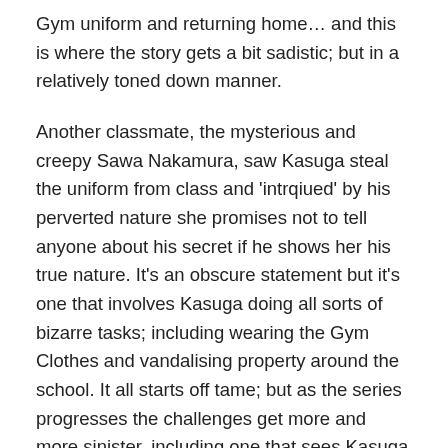Gym uniform and returning home… and this is where the story gets a bit sadistic; but in a relatively toned down manner.
Another classmate, the mysterious and creepy Sawa Nakamura, saw Kasuga steal the uniform from class and 'intrqiued' by his perverted nature she promises not to tell anyone about his secret if he shows her his true nature. It's an obscure statement but it's one that involves Kasuga doing all sorts of bizarre tasks; including wearing the Gym Clothes and vandalising property around the school. It all starts off tame; but as the series progresses the challenges get more and more sinister, including one that sees Kasuga wear the Gym clothes on a date with Saeki herself. At this point in the story the show becomes relatively stale, the challenges set by Nakamura don't